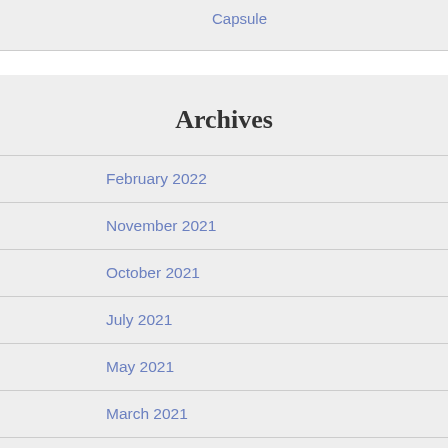Capsule
Archives
February 2022
November 2021
October 2021
July 2021
May 2021
March 2021
February 2021